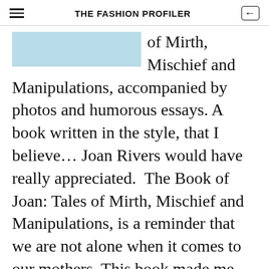THE FASHION PROFILER
[Figure (photo): Partial view of a book cover with light blue background]
of Mirth, Mischief and Manipulations, accompanied by photos and humorous essays. A book written in the style, that I believe... Joan Rivers would have really appreciated.  The Book of Joan: Tales of Mirth, Mischief and Manipulations, is a reminder that we are not alone when it comes to our mothers. This book made me laugh...